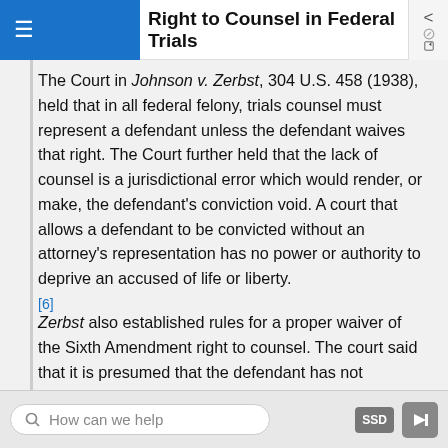Right to Counsel in Federal Trials
The Court in Johnson v. Zerbst, 304 U.S. 458 (1938), held that in all federal felony, trials counsel must represent a defendant unless the defendant waives that right. The Court further held that the lack of counsel is a jurisdictional error which would render, or make, the defendant's conviction void. A court that allows a defendant to be convicted without an attorney's representation has no power or authority to deprive an accused of life or liberty. [6]
Zerbst also established rules for a proper waiver of the Sixth Amendment right to counsel. The court said that it is presumed that the defendant has not
How can we help